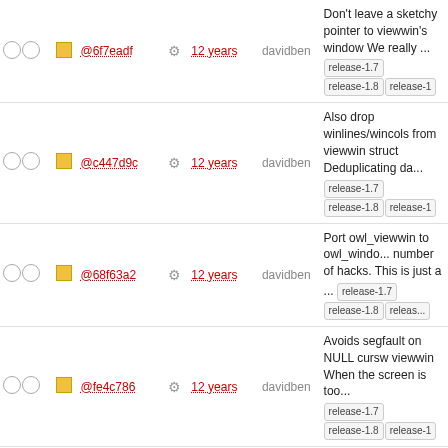| checks | icon | hash | gear | age | author | message |
| --- | --- | --- | --- | --- | --- | --- |
| ○ ○ | ■ | @6f7eadf ⚙ |  | 12 years | davidben | Don't leave a sketchy pointer to viewwin's window We really ... release-1.7 release-1.8 release-1... |
| ○ ○ | ■ | @c447d9c ⚙ |  | 12 years | davidben | Also drop winlines/wincols from viewwin struct Deduplicating da... release-1.7 release-1.8 release-1... |
| ○ ○ | ■ | @68f63a2 ⚙ |  | 12 years | davidben | Port owl_viewwin to owl_windo... number of hacks. This is just a ... release-1.7 release-1.8 releas... |
| ○ ○ | ■ | @fe4c786 ⚙ |  | 12 years | davidben | Avoids segfault on NULL cursw viewwin When the screen is to... release-1.7 release-1.8 release-1... |
| ○ ○ | ■ | @f449096 ⚙ |  | 12 years | davidben | Drop calls to update_panels ou main loop One call is sufficient. release-1.6 release-1.7 release-1.8 release-1.9 |
| ○ ○ | ■ | @4cca591 ⚙ |  | 12 years | davidben | Drop doupdate call in owl_viewwin_redisplay Instead- refresh flag ... release-1.6 relea... 1.7 release-1.8 release-1.9 |
| ○ ○ | ■ | @963b471 ⚙ |  | 12 years | andersk | Rename owl_viewwin_free to owl_viewwin_cleanup. Signed- Anders ... release-1.6 release- 1.7 release-1.8 release-1.9 |
| ○ ○ | ■ | @7ab0020 ⚙ |  | 12 years | andersk | Rename owl_fmtext_free to owl_fmtext_cleanup. Signed-of Anders ... release-1.6 release- 1.7 release-1.8 release-1.9 |
| ○ ○ | ■ | @8ae2de9 ⚙ |  | 12 years | davidben | Attach PANELs to all of our WINDOWs We replace wnotro with ... release-1.6 release- 1.7 release-1.8 release-1.9 |